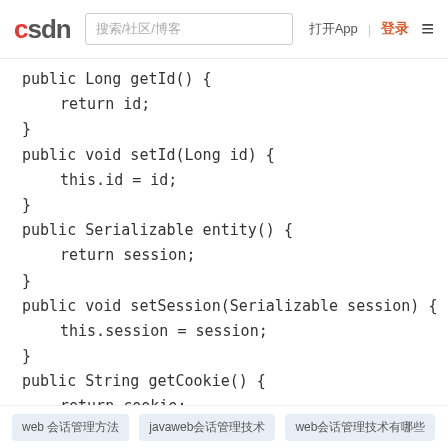CSDN | 搜索/社区/博客 | 打开App | 登录 | 菜单
public Long getId() {
    return id;
}
public void setId(Long id) {
    this.id = id;
}
public Serializable entity() {
    return session;
}
public void setSession(Serializable session) {
    this.session = session;
}
public String getCookie() {
    return cookie;
}
web 会话管理方法  javaweb会话管理技术  web会话管理技术有哪些